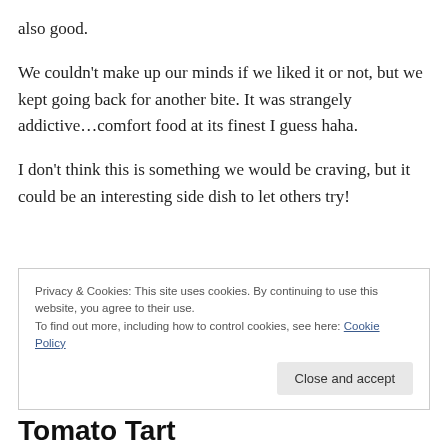also good.
We couldn't make up our minds if we liked it or not, but we kept going back for another bite. It was strangely addictive…comfort food at its finest I guess haha.
I don't think this is something we would be craving, but it could be an interesting side dish to let others try!
Privacy & Cookies: This site uses cookies. By continuing to use this website, you agree to their use.
To find out more, including how to control cookies, see here: Cookie Policy
Tomato Tart